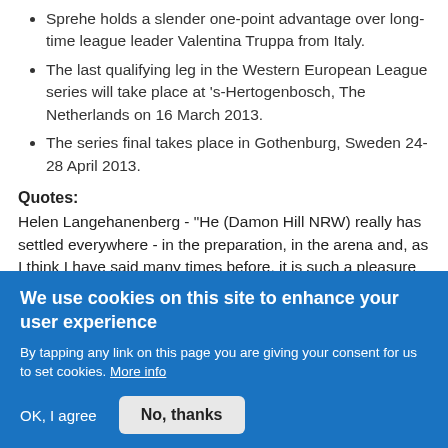Sprehe holds a slender one-point advantage over long-time league leader Valentina Truppa from Italy.
The last qualifying leg in the Western European League series will take place at 's-Hertogenbosch, The Netherlands on 16 March 2013.
The series final takes place in Gothenburg, Sweden 24-28 April 2013.
Quotes:
Helen Langehanenberg - "He (Damon Hill NRW) really has settled everywhere - in the preparation, in the arena and, as I think I have said many times before, it is such a pleasure to ride him!"
We use cookies on this site to enhance your user experience
By tapping any link on this page you are giving your consent for us to set cookies. More info
OK, I agree
No, thanks